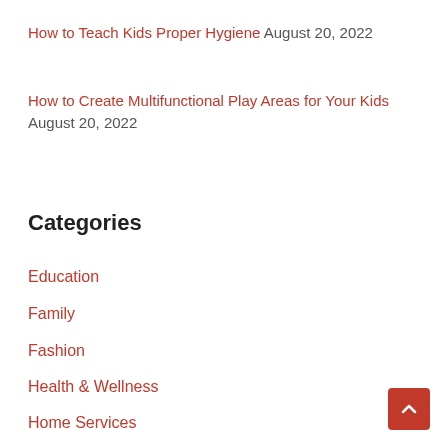How to Teach Kids Proper Hygiene August 20, 2022
How to Create Multifunctional Play Areas for Your Kids August 20, 2022
Categories
Education
Family
Fashion
Health & Wellness
Home Services
Lifestyle